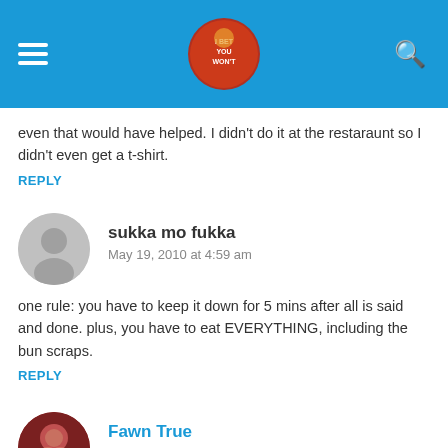I Bet You Won't (logo)
even that would have helped. I didn't do it at the restaraunt so I didn't even get a t-shirt.
REPLY
sukka mo fukka
May 19, 2010 at 4:59 am
one rule: you have to keep it down for 5 mins after all is said and done. plus, you have to eat EVERYTHING, including the bun scraps.
REPLY
Fawn True
June 16, 2010 at 7:11 pm